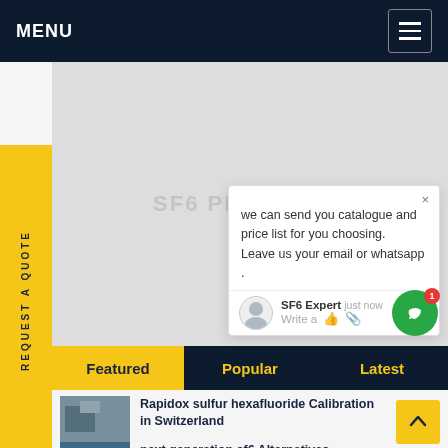MENU
REQUEST A QUOTE
we can send you catalogue and price list for you choosing.
Leave us your email or whatsapp .
SF6 Expert   just now
Write a
Featured   Popular   Latest
Rapidox sulfur hexafluoride Calibration in Switzerland
next generation sf6 Alternatives